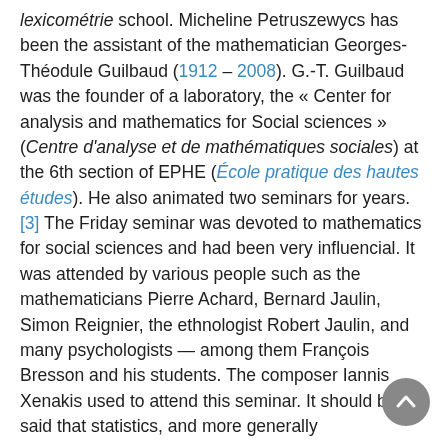lexicométrie school. Micheline Petruszewycs has been the assistant of the mathematician Georges-Théodule Guilbaud (1912 – 2008). G.-T. Guilbaud was the founder of a laboratory, the « Center for analysis and mathematics for Social sciences » (Centre d'analyse et de mathématiques sociales) at the 6th section of EPHE (École pratique des hautes études). He also animated two seminars for years. [3] The Friday seminar was devoted to mathematics for social sciences and had been very influencial. It was attended by various people such as the mathematicians Pierre Achard, Bernard Jaulin, Simon Reignier, the ethnologist Robert Jaulin, and many psychologists — among them François Bresson and his students. The composer Iannis Xenakis used to attend this seminar. It should be said that statistics, and more generally